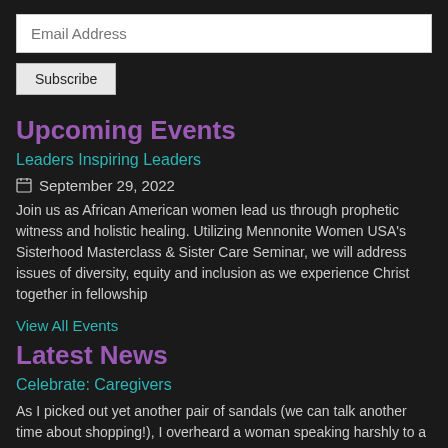Email Address
Subscribe
Upcoming Events
Leaders Inspiring Leaders
September 29, 2022
Join us as African American women lead us through prophetic witness and holistic healing. Utilizing Mennonite Women USA's Sisterhood Masterclass & Sister Care Seminar, we will address issues of diversity, equity and inclusion as we experience Christ together in fellowship
View All Events
Latest News
Celebrate: Caregivers
As I picked out yet another pair of sandals (we can talk another time about shopping!), I overheard a woman speaking harshly to a man I